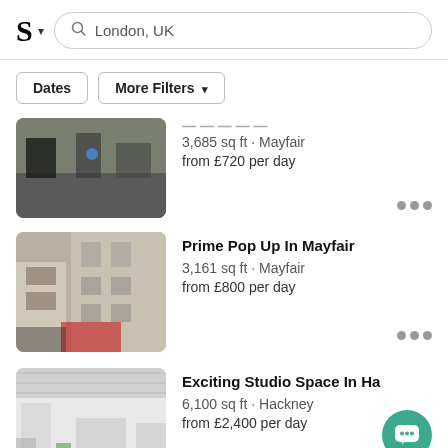S · London, UK
Dates | More Filters
[Figure (photo): Street-level photo of a commercial storefront in London]
3,685 sq ft · Mayfair
from £720 per day
[Figure (photo): Photo of a classic London building facade with balconies — Prime Pop Up In Mayfair]
Prime Pop Up In Mayfair
3,161 sq ft · Mayfair
from £800 per day
[Figure (photo): Photo of a studio interior with white ceiling — Exciting Studio Space In Ha...]
Exciting Studio Space In Ha
6,100 sq ft · Hackney
from £2,400 per day